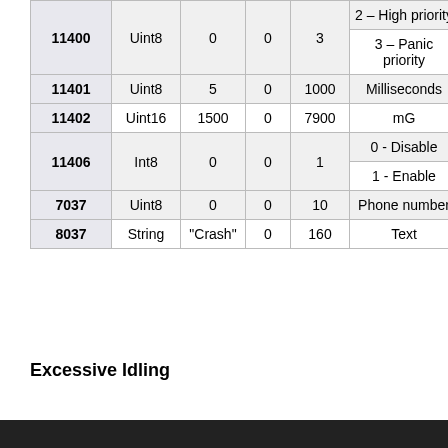| ID | Type | Default | Min | Max | Description |
| --- | --- | --- | --- | --- | --- |
| 11400 | Uint8 | 0 | 0 | 3 | 2 – High priority
3 – Panic priority |
| 11401 | Uint8 | 5 | 0 | 1000 | Milliseconds |
| 11402 | Uint16 | 1500 | 0 | 7900 | mG |
| 11406 | Int8 | 0 | 0 | 1 | 0 - Disable
1 - Enable |
| 7037 | Uint8 | 0 | 0 | 10 | Phone number |
| 8037 | String | "Crash" | 0 | 160 | Text |
Excessive Idling